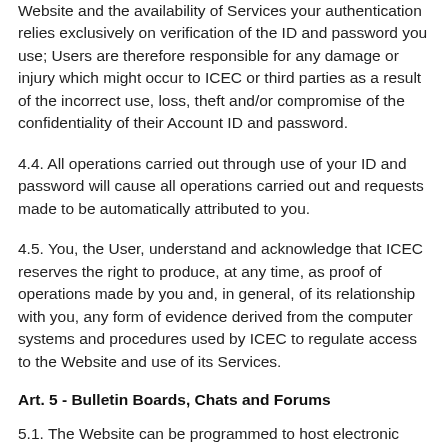Website and the availability of Services your authentication relies exclusively on verification of the ID and password you use; Users are therefore responsible for any damage or injury which might occur to ICEC or third parties as a result of the incorrect use, loss, theft and/or compromise of the confidentiality of their Account ID and password.
4.4. All operations carried out through use of your ID and password will cause all operations carried out and requests made to be automatically attributed to you.
4.5. You, the User, understand and acknowledge that ICEC reserves the right to produce, at any time, as proof of operations made by you and, in general, of its relationship with you, any form of evidence derived from the computer systems and procedures used by ICEC to regulate access to the Website and use of its Services.
Art. 5 - Bulletin Boards, Chats and Forums
5.1. The Website can be programmed to host electronic